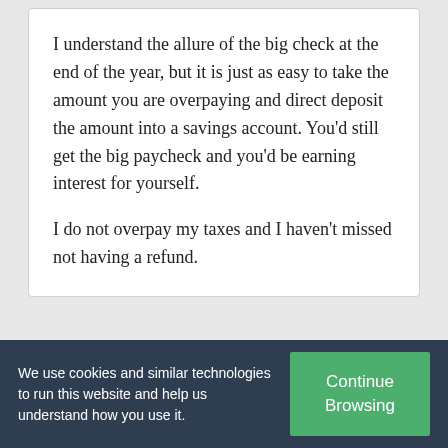I understand the allure of the big check at the end of the year, but it is just as easy to take the amount you are overpaying and direct deposit the amount into a savings account. You'd still get the big paycheck and you'd be earning interest for yourself.
I do not overpay my taxes and I haven't missed not having a refund.
nonchalant 1
December 12, 2013
I am a single mother of 3. I make a reasonable
We use cookies and similar technologies to run this website and help us understand how you use it.
Continue Browsing